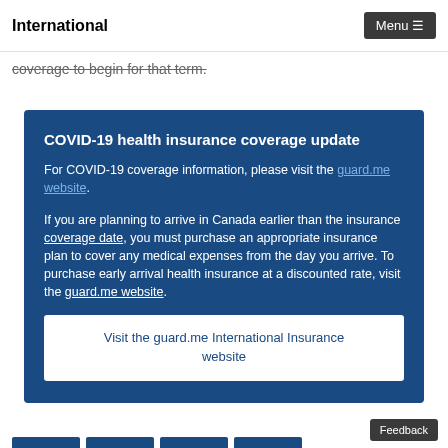International | Menu
coverage to begin for that term.
COVID-19 health insurance coverage update
For COVID-19 coverage information, please visit the guard.me website.
If you are planning to arrive in Canada earlier than the insurance coverage date, you must purchase an appropriate insurance plan to cover any medical expenses from the day you arrive. To purchase early arrival health insurance at a discounted rate, visit the guard.me website.
Visit the guard.me International Insurance website